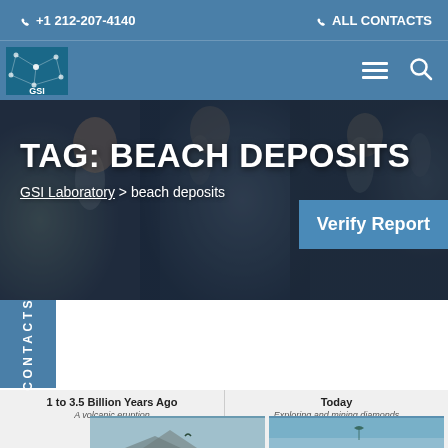+1 212-207-4140  |  ALL CONTACTS
[Figure (logo): GSI Laboratory logo - globe/network icon with GSI text on blue background]
TAG: BEACH DEPOSITS
GSI Laboratory > beach deposits
Verify Report
CONTACTS
[Figure (photo): Scientists looking through microscopes in a laboratory setting, background image for the beach deposits tag page]
1 to 3.5 Billion Years Ago
A volcanic eruption
Today
Exploring and mining diamonds
[Figure (photo): Two side-by-side images at bottom: left shows volcanic rock formation, right shows a bird/crane in blue sky]